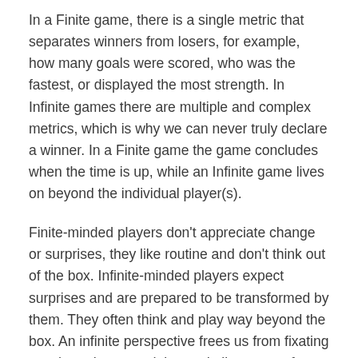In a Finite game, there is a single metric that separates winners from losers, for example, how many goals were scored, who was the fastest, or displayed the most strength. In Infinite games there are multiple and complex metrics, which is why we can never truly declare a winner. In a Finite game the game concludes when the time is up, while an Infinite game lives on beyond the individual player(s).
Finite-minded players don't appreciate change or surprises, they like routine and don't think out of the box. Infinite-minded players expect surprises and are prepared to be transformed by them. They often think and play way beyond the box. An infinite perspective frees us from fixating on what others are doing and allows us to focus on a much larger and more important vision.